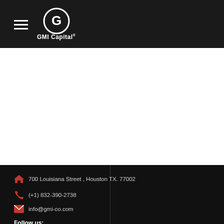GMI Capital
700 Louisiana Street , Houston TX. 77002
(+1) 832-390-2738
info@gmi-co.com
Follow us: